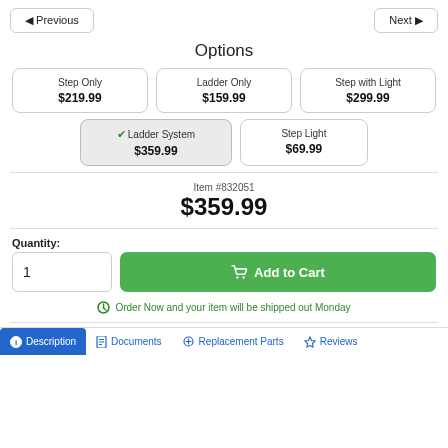< Previous
Next >
Options
Step Only $219.99
Ladder Only $159.99
Step with Light $299.99
✓ Ladder System $359.99 (selected)
Step Light $69.99
Item #832051
$359.99
Quantity:
1
Add to Cart
Order Now and your item will be shipped out Monday
Description | Documents | Replacement Parts | Reviews